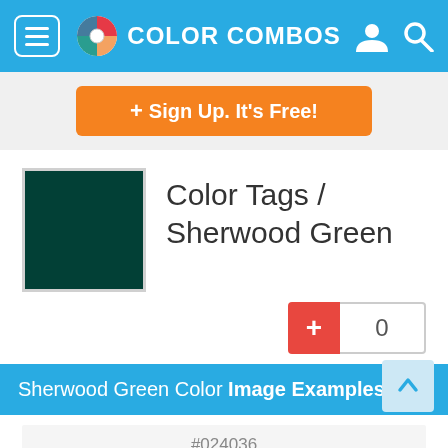COLOR COMBOS
+ Sign Up. It's Free!
Color Tags / Sherwood Green
0
Sherwood Green Color Image Examples
#024036